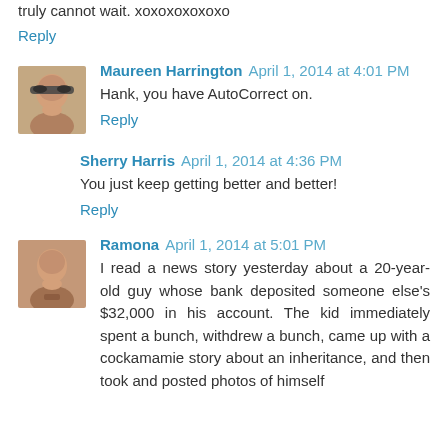truly cannot wait. xoxoxoxoxoxo
Reply
Maureen Harrington  April 1, 2014 at 4:01 PM
Hank, you have AutoCorrect on.
Reply
Sherry Harris  April 1, 2014 at 4:36 PM
You just keep getting better and better!
Reply
Ramona  April 1, 2014 at 5:01 PM
I read a news story yesterday about a 20-year-old guy whose bank deposited someone else's $32,000 in his account. The kid immediately spent a bunch, withdrew a bunch, came up with a cockamamie story about an inheritance, and then took and posted photos of himself with stacks of money on social media. And he got